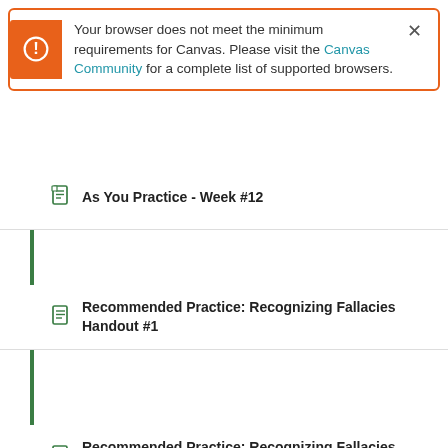Your browser does not meet the minimum requirements for Canvas. Please visit the Canvas Community for a complete list of supported browsers.
As You Practice - Week #12
Recommended Practice: Recognizing Fallacies Handout #1
Recommended Practice: Recognizing Fallacies Handout #1 - Answer Key
Recommended Practice Quiz - Week #12
Recommended Review Quiz #1 - Week #12
Recommended Review Quiz #2 - Week